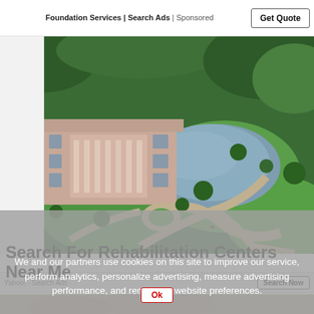Foundation Services | Search Ads | Sponsored
[Figure (photo): Aerial view of a large pink/beige institution building with white columns, surrounded by extensive green trees and parkland, with a pond/lake in the foreground and curved pathways.]
Search For Rehabilitation Centers Near Me
We and our partners use cookies on this site to improve our service, perform analytics, personalize advertising, measure advertising performance, and remember website preferences.
Ok